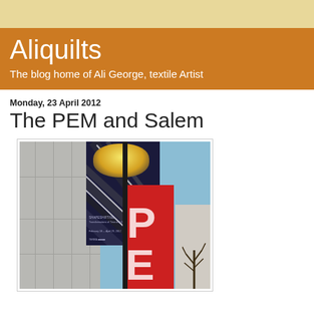Aliquilts
The blog home of Ali George, textile Artist
Monday, 23 April 2012
The PEM and Salem
[Figure (photo): Photograph of banners outside the Peabody Essex Museum (PEM) in Salem. A tall black pole holds two banners: a dark blue banner with diagonal stripes and a face/figure at the top with text reading 'Shapeshifting', and a red banner with the letters PEM. A building wall is visible on the left, blue sky in the background, and another building partially visible on the right.]